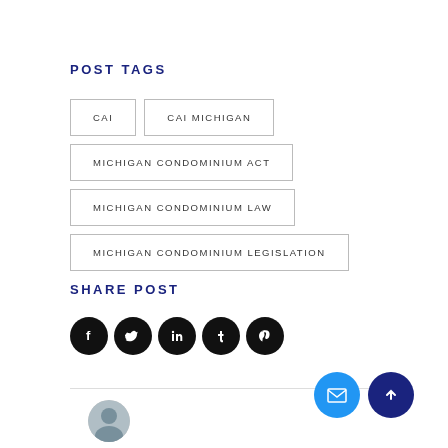POST TAGS
CAI
CAI MICHIGAN
MICHIGAN CONDOMINIUM ACT
MICHIGAN CONDOMINIUM LAW
MICHIGAN CONDOMINIUM LEGISLATION
SHARE POST
[Figure (infographic): Five social media share buttons (Facebook, Twitter, LinkedIn, Tumblr, Pinterest) as dark circles with white icons]
[Figure (photo): Author avatar photo partially visible at bottom of page]
[Figure (infographic): Mail and scroll-to-top floating action buttons at bottom right]